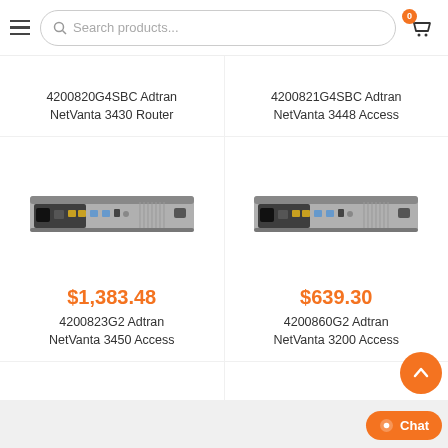Search products...
4200820G4SBC Adtran NetVanta 3430 Router
4200821G4SBC Adtran NetVanta 3448 Access
[Figure (photo): Rear view of Adtran NetVanta 3450 Access router appliance, gray 1U rack unit]
$1,383.48
4200823G2 Adtran NetVanta 3450 Access
[Figure (photo): Rear view of Adtran NetVanta 3200 Access router appliance, gray 1U rack unit]
$639.30
4200860G2 Adtran NetVanta 3200 Access